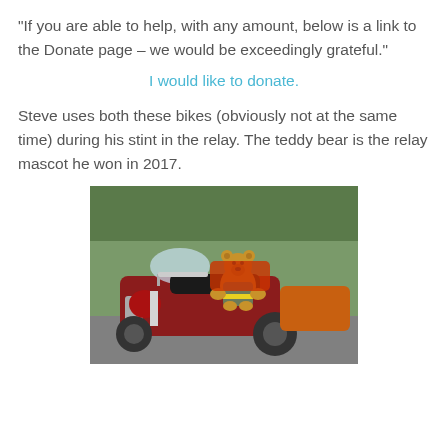“If you are able to help, with any amount, below is a link to the Donate page – we would be exceedingly grateful.”
I would like to donate.
Steve uses both these bikes (obviously not at the same time) during his stint in the relay. The teddy bear is the relay mascot he won in 2017.
[Figure (photo): Photo of multiple motorcycles parked together, with a teddy bear mascot sitting on the seat of a red motorcycle in the foreground. Trees and other bikes visible in background.]